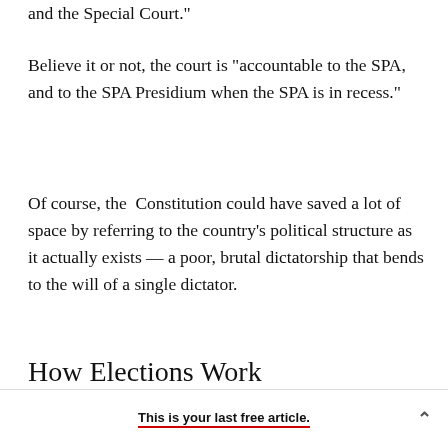and the Special Court."
Believe it or not, the court is "accountable to the SPA, and to the SPA Presidium when the SPA is in recess."
Of course, the  Constitution could have saved a lot of space by referring to the country's political structure as it actually exists — a poor, brutal dictatorship that bends to the will of a single dictator.
How Elections Work
This is your last free article.